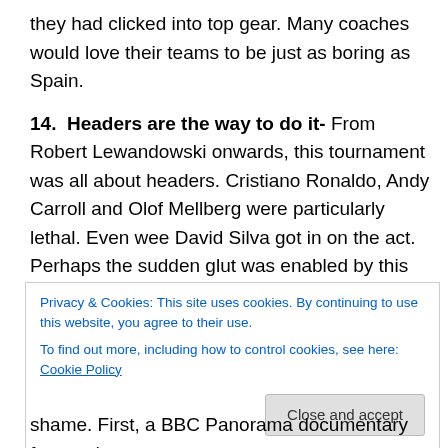they had clicked into top gear. Many coaches would love their teams to be just as boring as Spain.
14. Headers are the way to do it- From Robert Lewandowski onwards, this tournament was all about headers. Cristiano Ronaldo, Andy Carroll and Olof Mellberg were particularly lethal. Even wee David Silva got in on the act. Perhaps the sudden glut was enabled by this year's ball – the roundest yet, or so the makers would have us believe. The Tango 12 moves more predictably than the infamous Jabulani, allowing wingers to deliver
Privacy & Cookies: This site uses cookies. By continuing to use this website, you agree to their use.
To find out more, including how to control cookies, see here: Cookie Policy
shame. First, a BBC Panorama documentary featured